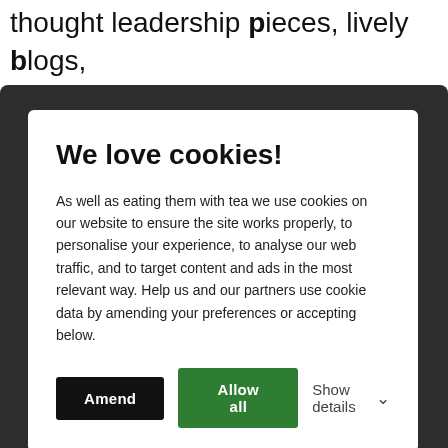thought leadership pieces, lively blogs, informative case studies or compelling website
[Figure (screenshot): Cookie consent modal dialog with dark rounded background overlay. Contains title 'We love cookies!', descriptive body text, and two buttons: 'Amend' (black) and 'Allow all' (green), plus a 'Show details' toggle.]
Posted in Marketing
[Figure (illustration): Orange circle with white phone icon (handset), representing a contact/call button at the bottom left of the page.]